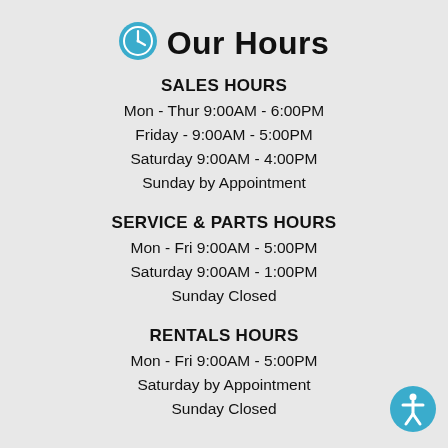Our Hours
SALES HOURS
Mon - Thur 9:00AM - 6:00PM
Friday - 9:00AM - 5:00PM
Saturday 9:00AM - 4:00PM
Sunday by Appointment
SERVICE & PARTS HOURS
Mon - Fri 9:00AM - 5:00PM
Saturday 9:00AM - 1:00PM
Sunday Closed
RENTALS HOURS
Mon - Fri 9:00AM - 5:00PM
Saturday by Appointment
Sunday Closed
[Figure (illustration): Accessibility icon - white figure with arms and legs outstretched on a teal/blue circular background]